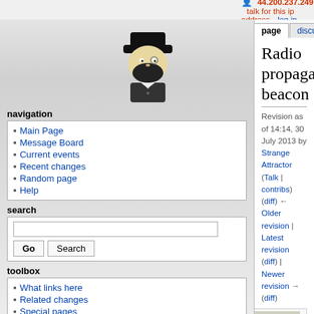44.200.237.249   talk for this ip address   log in
page | discussion | view source | history
Radio propagation beacon
Revision as of 14:14, 30 July 2013 by Strange Attractor (Talk | contribs)
(diff) ← Older revision | Latest revision (diff) | Newer revision → (diff)
[Figure (photo): DK0WCY & DRA5 beacons - man standing in front of radio equipment rack]
DK0WCY & DRA5 beacons
A radio propagation beacon is a radio beacon, which is mainly used for investigating the propagation of radio signals. Currently most radio propagation beacons use amateur radio frequencies. They can be found on HF, VHF
Main Page
Message Board
Current events
Recent changes
Random page
Help
What links here
Related changes
Special pages